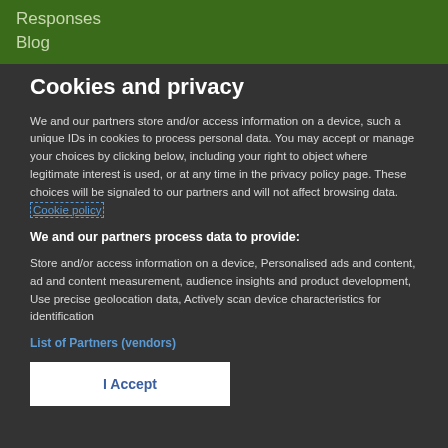Responses
Blog
Cookies and privacy
We and our partners store and/or access information on a device, such a unique IDs in cookies to process personal data. You may accept or manage your choices by clicking below, including your right to object where legitimate interest is used, or at any time in the privacy policy page. These choices will be signaled to our partners and will not affect browsing data. Cookie policy
We and our partners process data to provide:
Store and/or access information on a device, Personalised ads and content, ad and content measurement, audience insights and product development, Use precise geolocation data, Actively scan device characteristics for identification
List of Partners (vendors)
I Accept